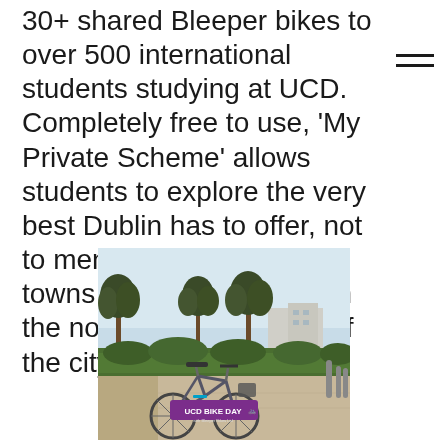30+ shared Bleeper bikes to over 500 international students studying at UCD. Completely free to use, 'My Private Scheme' allows students to explore the very best Dublin has to offer, not to mention all the great towns and villages on both the north and south side of the city.
[Figure (photo): A Bleeper shared bicycle parked in front of a hedge and trees on a university campus. A purple banner sign reads 'UCD BIKE DAY' with bicycle icons. Campus buildings and bollards visible in background.]